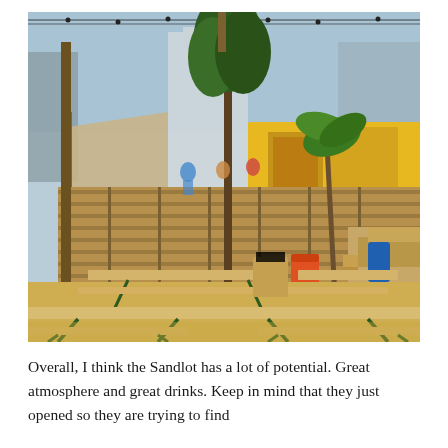[Figure (photo): Outdoor beer garden/bar area called the Sandlot. Sandy ground with wooden picnic-style folding tables and benches (green metal frames, light wood tops) in the foreground. Background shows wooden pallet fencing, a raised deck area with people, yellow shipping container bar structure, palm trees, a large tree, string lights overhead, and urban buildings visible in the background. An orange cooler and blue trash can are visible near the center.]
Overall, I think the Sandlot has a lot of potential. Great atmosphere and great drinks. Keep in mind that they just opened so they are trying to find